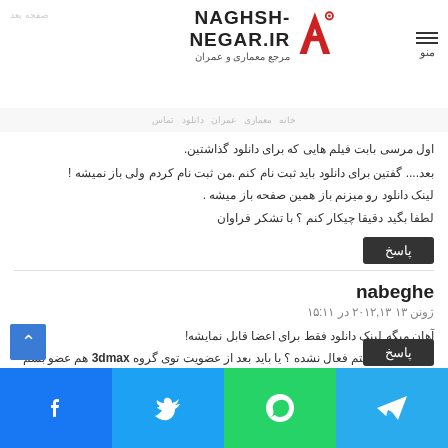naghsh-negar.ir - مرجع معماری و عمران
اول مرسی بابت فیلم هایی که برای دانلود گذاشتین.
بعد.... گفتین برای دانلود باید ثبت نام کنم .من ثبت نام کردم ولی باز نمیشه ! لینک دانلود رو میزنم باز همین صفحه باز میشه . لطفا بگید دقیقا چیکار کنم ؟ با تشکر فراوان
پاسخ
nabeghe
ژونن ۱۳ ۲۰۱۲,۱۳ در ۱۵:۱۱
آهان میگه لینک دانلود فقط برای اعضا قابل نمایشه!
یعنی من عضویتم فعال نشده ؟ یا باید بعد از عضویت توی گروه 3dmax هم عضو بشم ؟ اونجام البته عضو شدم ولی باز....